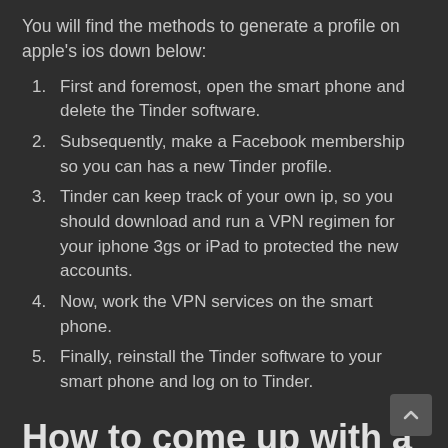You will find the methods to generate a profile on apple's ios down below:
First and foremost, open the smart phone and delete the Tinder software.
Subsequently, make a Facebook membership so you can has a new Tinder profile.
Tinder can keep track of your own ip, so you should download and run a VPN regimen for your iphone 3gs or iPad to protected the new accounts.
Now, work the VPN services on the smart phone.
Finally, reinstall the Tinder software to your smart phone and log on to Tinder.
How to come up with a unique Tinder Account on Android?
Here are the procedures to create a new profile on Android:
Firstly, you will need to remove cache and facts. You can easily erase them effortlessly from space area for